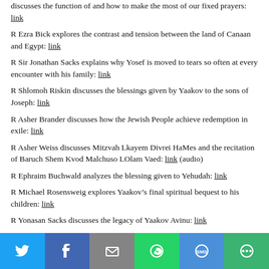discusses the function of and how to make the most of our fixed prayers: link
R Ezra Bick explores the contrast and tension between the land of Canaan and Egypt: link
R Sir Jonathan Sacks explains why Yosef is moved to tears so often at every encounter with his family: link
R Shlomoh Riskin discusses the blessings given by Yaakov to the sons of Joseph: link
R Asher Brander discusses how the Jewish People achieve redemption in exile: link
R Asher Weiss discusses Mitzvah Lkayem Divrei HaMes and the recitation of Baruch Shem Kvod Malchuso LOlam Vaed: link (audio)
R Ephraim Buchwald analyzes the blessing given to Yehudah: link
R Michael Rosensweig explores Yaakov’s final spiritual bequest to his children: link
R Yonasan Sacks discusses the legacy of Yaakov Avinu: link